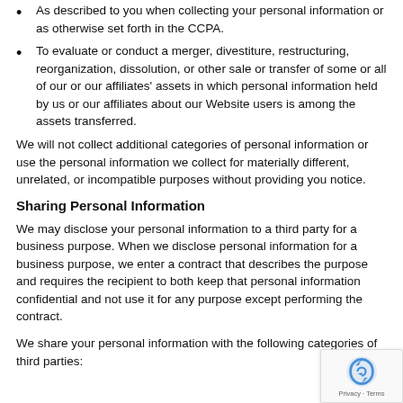As described to you when collecting your personal information or as otherwise set forth in the CCPA.
To evaluate or conduct a merger, divestiture, restructuring, reorganization, dissolution, or other sale or transfer of some or all of our or our affiliates' assets in which personal information held by us or our affiliates about our Website users is among the assets transferred.
We will not collect additional categories of personal information or use the personal information we collect for materially different, unrelated, or incompatible purposes without providing you notice.
Sharing Personal Information
We may disclose your personal information to a third party for a business purpose. When we disclose personal information for a business purpose, we enter a contract that describes the purpose and requires the recipient to both keep that personal information confidential and not use it for any purpose except performing the contract.
We share your personal information with the following categories of third parties: